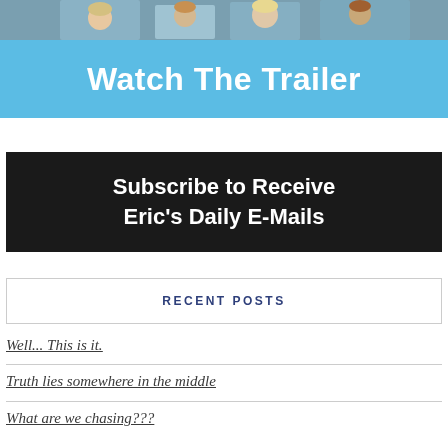[Figure (illustration): Banner image with photo of children at top and a blue section with white bold text reading 'Watch The Trailer']
[Figure (illustration): Black banner with white bold text reading 'Subscribe to Receive Eric's Daily E-Mails']
RECENT POSTS
Well... This is it.
Truth lies somewhere in the middle
What are we chasing???